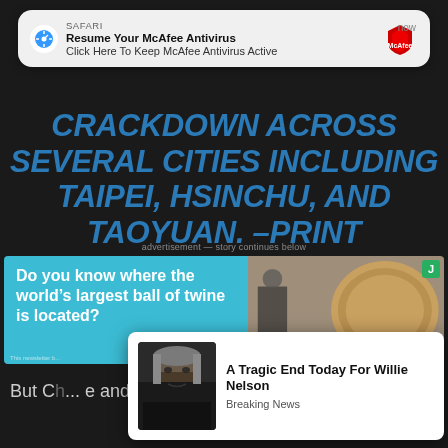[Figure (screenshot): Safari push notification banner: 'Resume Your McAfee Antivirus / Click Here To Keep McAfee Antivirus Active' with McAfee logo, timestamped 'now']
CRACKDOWN ACROSS SEVERAL CITIES INCLUDING TAIPEI, HSINCHU, AND TAOYUAN. —PRINT
advertisement — story continues below
[Figure (screenshot): Advertisement banner: 'Do you know where the world's largest ball of twine is located?' with cyan background and photo of large ball of twine]
[Figure (screenshot): Popup card: Photo of Willie Nelson with headline 'A Tragic End Today For Willie Nelson' and subtext 'Breaking News']
But Ch... e and steali... ary threa...